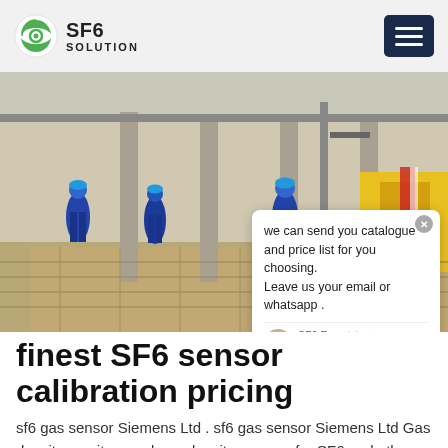SF6 SOLUTION
[Figure (photo): Workers in blue coveralls and hard hats at an industrial/electrical substation site with equipment and a yellow vehicle in the background.]
finest SF6 sensor calibration pricing
sf6 gas sensor Siemens Ltd . sf6 gas sensor Siemens Ltd Gas density monitors and gas density sensors for SF6 and other gases. Trafag gas monitoring devices measure the gas density